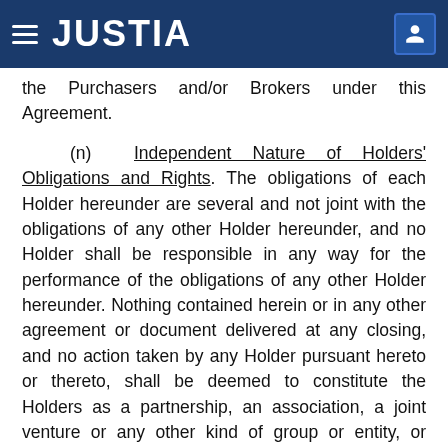JUSTIA
the Purchasers and/or Brokers under this Agreement.
(n) Independent Nature of Holders' Obligations and Rights. The obligations of each Holder hereunder are several and not joint with the obligations of any other Holder hereunder, and no Holder shall be responsible in any way for the performance of the obligations of any other Holder hereunder. Nothing contained herein or in any other agreement or document delivered at any closing, and no action taken by any Holder pursuant hereto or thereto, shall be deemed to constitute the Holders as a partnership, an association, a joint venture or any other kind of group or entity, or create a presumption that the Holders are in any way acting in concert or as a group or entity with respect to such obligations or the transactions contemplated by this Agreement or any other matters,